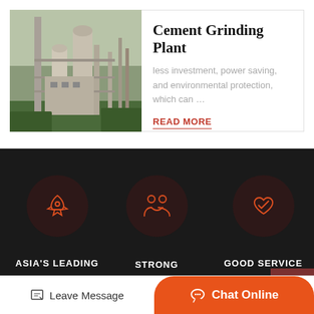[Figure (photo): Industrial cement grinding plant with silos, towers and equipment]
Cement Grinding Plant
less investment, power saving, and environmental protection, which can …
READ MORE
[Figure (infographic): Three feature icons on dark background: ASIA'S LEADING (rocket icon), STRONG STRENGTH (team icon), GOOD SERVICE (handshake icon)]
ASIA'S LEADING
STRONG STRENGTH
GOOD SERVICE
Leave Message
Chat Online